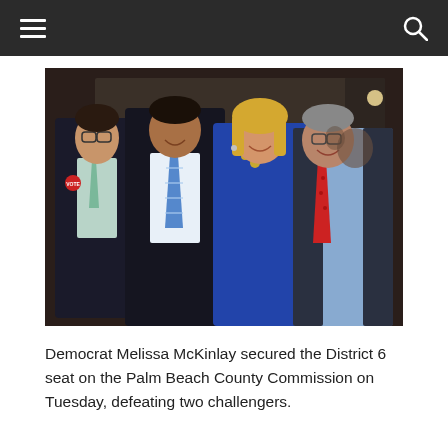Navigation bar with menu and search icons
[Figure (photo): Group photo of four people posing together at an event. From left: a man in a dark pinstripe suit with glasses and a campaign button, a man in a dark suit with a blue striped tie, a blonde woman in a blue sleeveless dress, and a man in a light blue shirt with a red tie and glasses. The setting appears to be an indoor/outdoor evening event.]
Democrat Melissa McKinlay secured the District 6 seat on the Palm Beach County Commission on Tuesday, defeating two challengers.